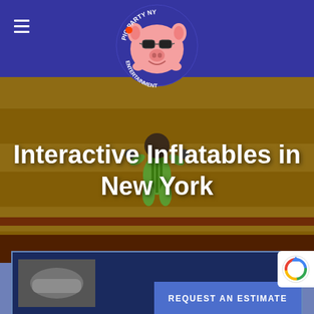Pig Party NY Entertainment - Navigation header with logo
[Figure (logo): Pig Party NY Entertainment logo - cartoon pig with sunglasses in a circular badge on dark blue/purple header background]
[Figure (photo): Hero image showing yellow and red striped inflatable bounce house with a child in green outfit climbing or playing on it]
Interactive Inflatables in New York
[Figure (screenshot): Bottom section showing dark blue card with party/inflatable product image thumbnail, a blue 'REQUEST AN ESTIMATE' button, and a reCAPTCHA logo badge]